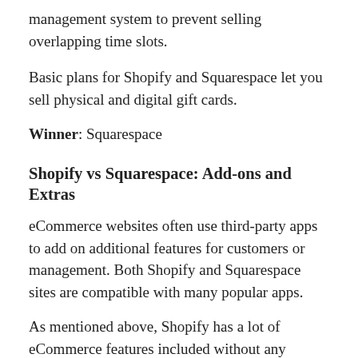management system to prevent selling overlapping time slots.
Basic plans for Shopify and Squarespace let you sell physical and digital gift cards.
Winner: Squarespace
Shopify vs Squarespace: Add-ons and Extras
eCommerce websites often use third-party apps to add on additional features for customers or management. Both Shopify and Squarespace sites are compatible with many popular apps.
As mentioned above, Shopify has a lot of eCommerce features included without any additional cost. There's a great...